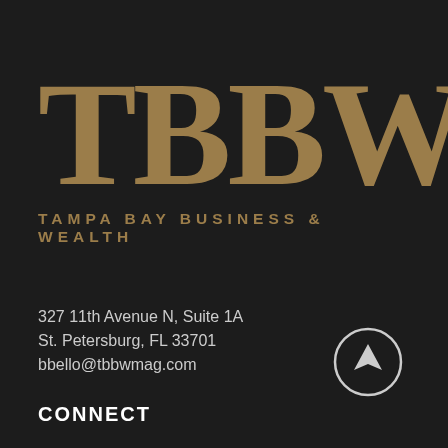[Figure (logo): TBBW Tampa Bay Business & Wealth logo with large gold serif letters TBBW and subtitle TAMPA BAY BUSINESS & WEALTH on dark background]
327 11th Avenue N, Suite 1A
St. Petersburg, FL 33701
bbello@tbbwmag.com
[Figure (illustration): Circle with upward arrow icon]
CONNECT